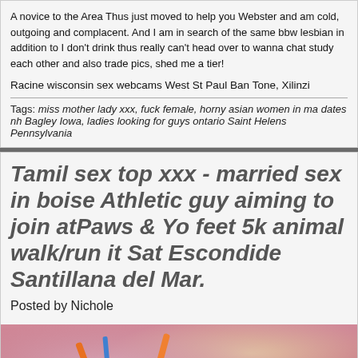A novice to the Area Thus just moved to help you Webster and am cold, outgoing and complacent. And I am in search of the same bbw lesbian in addition to I don't drink thus really can't head over to wanna chat study each other and also trade pics, shed me a tier!
Racine wisconsin sex webcams West St Paul Ban Tone, Xilinzi
Tags: miss mother lady xxx, fuck female, horny asian women in ma dates nh Bagley Iowa, ladies looking for guys ontario Saint Helens Pennsylvania
Tamil sex top xxx - married sex in boise Athletic guy aiming to join atPaws & Yo feet 5k animal walk/run it Sat Escondido Santillana del Mar.
Posted by Nichole
[Figure (photo): Close-up photo of a person wearing an orange/pink bikini top with a blue strap visible, warm skin tones]